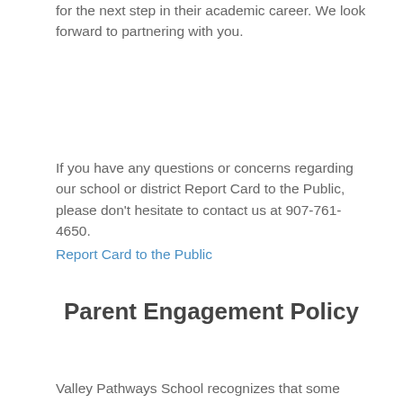for the next step in their academic career. We look forward to partnering with you.
If you have any questions or concerns regarding our school or district Report Card to the Public, please don't hesitate to contact us at 907-761-4650.
Report Card to the Public
Parent Engagement Policy
Valley Pathways School recognizes that some